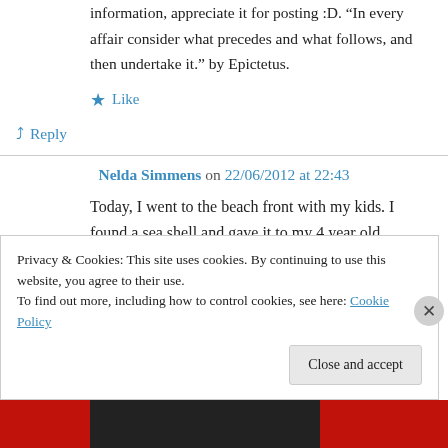information, appreciate it for posting :D. "In every affair consider what precedes and what follows, and then undertake it." by Epictetus.
★ Like
↪ Reply
Nelda Simmens on 22/06/2012 at 22:43
Today, I went to the beach front with my kids. I found a sea shell and gave it to my 4 year old daughter and said “You can hear the ocean if
Privacy & Cookies: This site uses cookies. By continuing to use this website, you agree to their use.
To find out more, including how to control cookies, see here: Cookie Policy